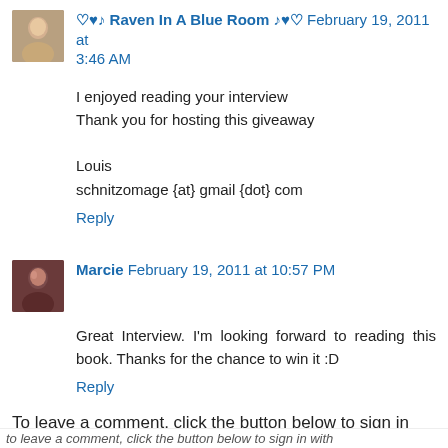♡♥♪ Raven In A Blue Room ♪♥♡ February 19, 2011 at 3:46 AM
I enjoyed reading your interview
Thank you for hosting this giveaway

Louis
schnitzomage {at} gmail {dot} com
Reply
Marcie February 19, 2011 at 10:57 PM
Great Interview. I'm looking forward to reading this book. Thanks for the chance to win it :D
Reply
To leave a comment, click the button below to sign in with Google.
SIGN IN WITH GOOGLE